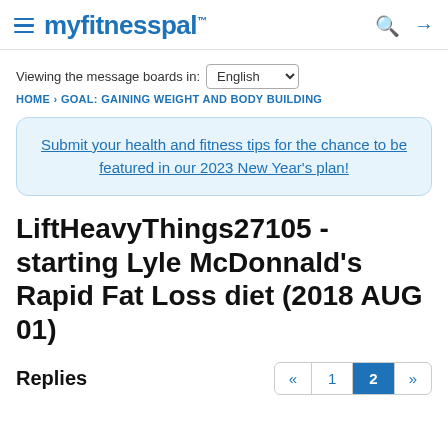myfitnesspal
Viewing the message boards in: English
HOME › GOAL: GAINING WEIGHT AND BODY BUILDING
Submit your health and fitness tips for the chance to be featured in our 2023 New Year's plan!
LiftHeavyThings27105 - starting Lyle McDonnald's Rapid Fat Loss diet (2018 AUG 01)
Replies
« 1 2 »